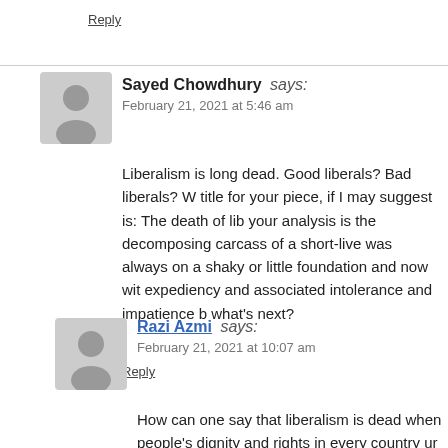Reply
Sayed Chowdhury says:
February 21, 2021 at 5:46 am
Liberalism is long dead. Good liberals? Bad liberals? W... title for your piece, if I may suggest is: The death of lib... your analysis is the decomposing carcass of a short-live... was always on a shaky or little foundation and now wit... expediency and associated intolerance and impatience b... what's next?
Reply
Razi Azmi says:
February 21, 2021 at 10:07 am
How can one say that liberalism is dead when... people's dignity and rights in every country ur...